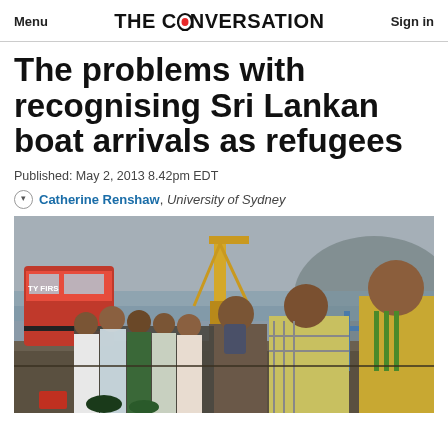Menu  THE CONVERSATION  Sign in
The problems with recognising Sri Lankan boat arrivals as refugees
Published: May 2, 2013 8.42pm EDT
Catherine Renshaw, University of Sydney
[Figure (photo): A group of men, appearing to be Sri Lankan migrants or refugees, standing in a line on a dock or port area. In the foreground is a man wearing a yellow and green striped shirt. Behind him are several other men in casual clothing. In the background are red and white vehicles and industrial port structures with a foggy or overcast sky.]